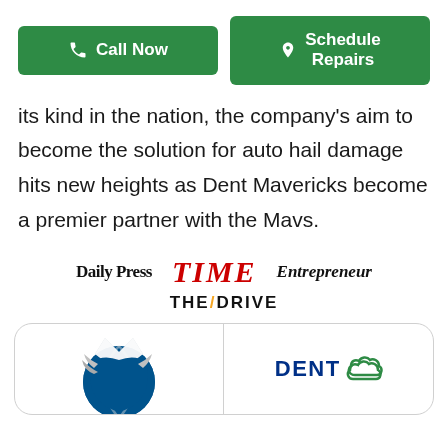[Figure (other): Two green CTA buttons side by side: 'Call Now' with phone icon on the left, 'Schedule Repairs' with location pin icon on the right]
its kind in the nation, the company's aim to become the solution for auto hail damage hits new heights as Dent Mavericks become a premier partner with the Mavs.
[Figure (logo): Press/media logos row: Daily Press, TIME (red), Entrepreneur, THE DRIVE]
[Figure (logo): Partnership card showing Dallas Mavericks logo on the left and Dent Mavericks (DENT with cloud infinity logo) on the right, separated by a vertical line]